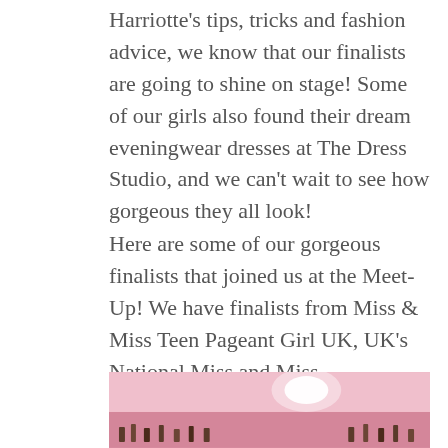Harriotte's tips, tricks and fashion advice, we know that our finalists are going to shine on stage! Some of our girls also found their dream eveningwear dresses at The Dress Studio, and we can't wait to see how gorgeous they all look!
Here are some of our gorgeous finalists that joined us at the Meet-Up! We have finalists from Miss & Miss Teen Pageant Girl UK, UK's National Miss and Miss International UK…
[Figure (photo): A photo showing a pink-toned interior scene, likely a room or venue decorated in pink, with a bright light reflection visible on the ceiling and small decorative items visible in the lower portion of the image.]